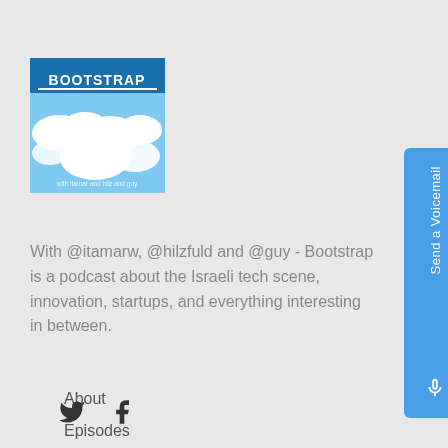[Figure (logo): Bootstrap podcast logo — blue background with white 'BOOTSTRAP' text at top and clouds image below, with small text 'with itamar and hilz and guy']
With @itamarw, @hilzfuld and @guy - Bootstrap is a podcast about the Israeli tech scene, innovation, startups, and everything interesting in between.
About
Episodes
[Figure (illustration): Social media icons: Twitter bird icon and Facebook logo icon]